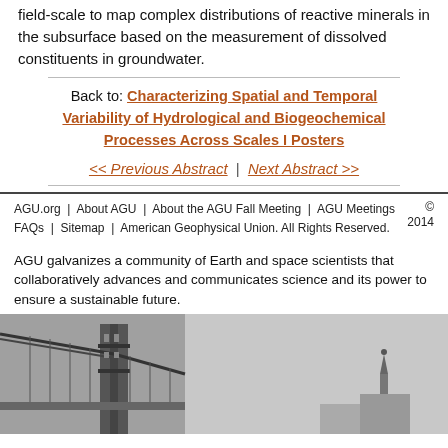field-scale to map complex distributions of reactive minerals in the subsurface based on the measurement of dissolved constituents in groundwater.
Back to: Characterizing Spatial and Temporal Variability of Hydrological and Biogeochemical Processes Across Scales I Posters
<< Previous Abstract | Next Abstract >>
AGU.org | About AGU | About the AGU Fall Meeting | AGU Meetings | © 2014 FAQs | Sitemap | American Geophysical Union. All Rights Reserved.
AGU galvanizes a community of Earth and space scientists that collaboratively advances and communicates science and its power to ensure a sustainable future.
[Figure (photo): Black and white photograph of the Golden Gate Bridge tower and cables, partial view, with another architectural structure visible on the far right.]